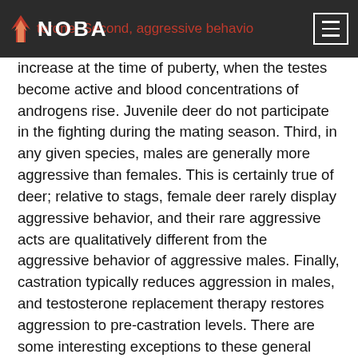NOBA
increase at the time of puberty, when the testes become active and blood concentrations of androgens rise. Juvenile deer do not participate in the fighting during the mating season. Third, in any given species, males are generally more aggressive than females. This is certainly true of deer; relative to stags, female deer rarely display aggressive behavior, and their rare aggressive acts are qualitatively different from the aggressive behavior of aggressive males. Finally, castration typically reduces aggression in males, and testosterone replacement therapy restores aggression to pre-castration levels. There are some interesting exceptions to these general observations that are outside the scope of this module.